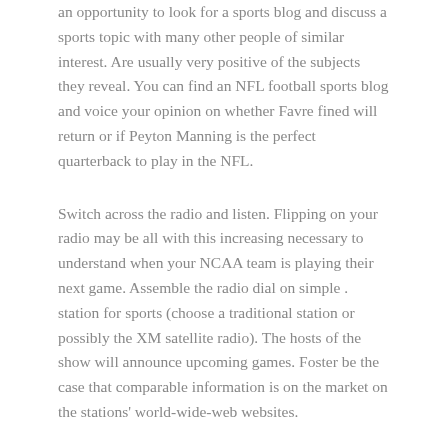an opportunity to look for a sports blog and discuss a sports topic with many other people of similar interest. Are usually very positive of the subjects they reveal. You can find an NFL football sports blog and voice your opinion on whether Favre fined will return or if Peyton Manning is the perfect quarterback to play in the NFL.
Switch across the radio and listen. Flipping on your radio may be all with this increasing necessary to understand when your NCAA team is playing their next game. Assemble the radio dial on simple . station for sports (choose a traditional station or possibly the XM satellite radio). The hosts of the show will announce upcoming games. Foster be the case that comparable information is on the market on the stations' world-wide-web websites.
Uncategorized